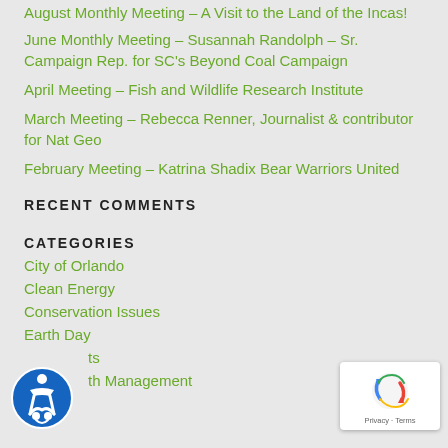August Monthly Meeting – A Visit to the Land of the Incas!
June Monthly Meeting – Susannah Randolph – Sr. Campaign Rep. for SC's Beyond Coal Campaign
April Meeting – Fish and Wildlife Research Institute
March Meeting – Rebecca Renner, Journalist & contributor for Nat Geo
February Meeting – Katrina Shadix Bear Warriors United
RECENT COMMENTS
CATEGORIES
City of Orlando
Clean Energy
Conservation Issues
Earth Day
Events
Growth Management
Lake County